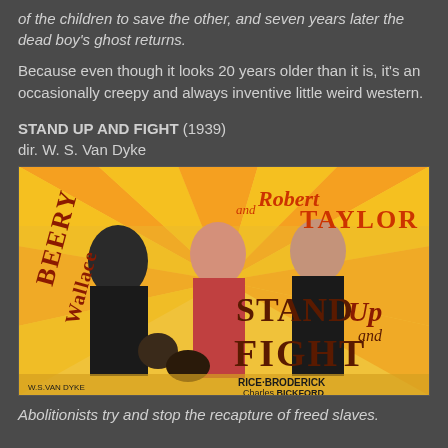of the children to save the other, and seven years later the dead boy's ghost returns.
Because even though it looks 20 years older than it is, it's an occasionally creepy and always inventive little weird western.
STAND UP AND FIGHT (1939)
dir. W. S. Van Dyke
[Figure (photo): Movie poster for Stand Up and Fight (1939) featuring Wallace Beery and Robert Taylor with Florence Rice, Broderick, Charles Bickford, directed by W.S. Van Dyke]
Abolitionists try and stop the recapture of freed slaves.